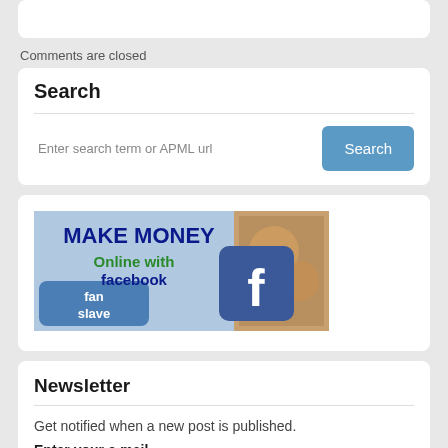Comments are closed
Search
Enter search term or APML url
[Figure (screenshot): Advertisement banner for 'fan slave' - Make Money Online with Facebook. Blue background with Facebook 'f' logo, green and dark blue text.]
Newsletter
Get notified when a new post is published.
Enter your e-mail